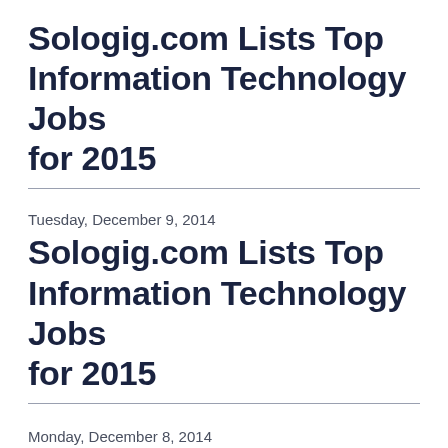Sologig.com Lists Top Information Technology Jobs for 2015
Tuesday, December 9, 2014
Sologig.com Lists Top Information Technology Jobs for 2015
Monday, December 8, 2014
CareerBuilder and EMSI